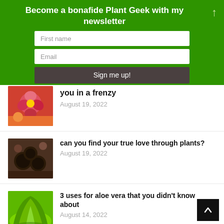Become a bonafide Plant Geek with my newsletter
First name
Email
Sign me up!
[Figure (photo): Red flower / colorful flowers image (partially visible at top)]
you in a frenzy
August 19, 2022
[Figure (photo): People holding coffee cups around a table with plants]
can you find your true love through plants?
August 19, 2022
[Figure (photo): Aloe vera plant close-up, green]
3 uses for aloe vera that you didn't know about
August 14, 2022